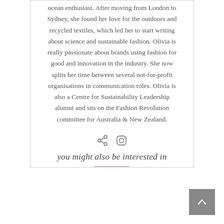ocean enthusiast. After moving from London to Sydney, she found her love for the outdoors and recycled textiles, which led her to start writing about science and sustainable fashion. Olivia is really passionate about brands using fashion for good and innovation in the industry. She now splits her time between several not-for-profit organisations in communication roles. Olivia is also a Centre for Sustainability Leadership alumni and sits on the Fashion Revolution committee for Australia & New Zealand.
[Figure (other): Two social media icons: a link/share icon and an Instagram icon]
you might also be interested in
[Figure (other): Back to top button with upward chevron arrow, grey background]